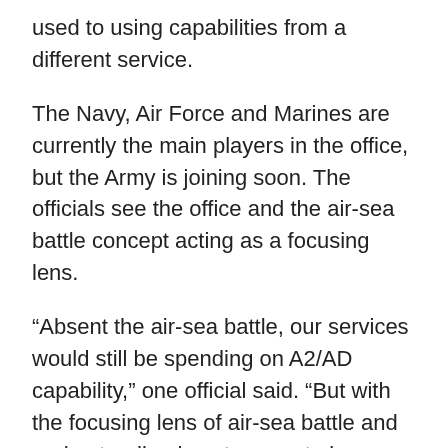used to using capabilities from a different service.
The Navy, Air Force and Marines are currently the main players in the office, but the Army is joining soon. The officials see the office and the air-sea battle concept acting as a focusing lens.
“Absent the air-sea battle, our services would still be spending on A2/AD capability,” one official said. “But with the focusing lens of air-sea battle and understanding how to operate in an environment such as that, we can make smarter decisions.”
Understanding the problem will help eliminate redundancy and allow the military to field shared, sus-